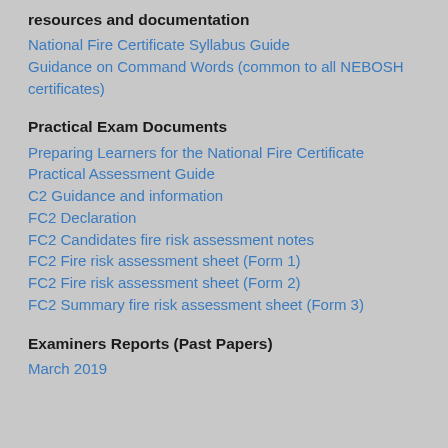resources and documentation
National Fire Certificate Syllabus Guide
Guidance on Command Words (common to all NEBOSH certificates)
Practical Exam Documents
Preparing Learners for the National Fire Certificate Practical Assessment Guide
C2 Guidance and information
FC2 Declaration
FC2 Candidates fire risk assessment notes
FC2 Fire risk assessment sheet (Form 1)
FC2 Fire risk assessment sheet (Form 2)
FC2 Summary fire risk assessment sheet (Form 3)
Examiners Reports (Past Papers)
March 2019